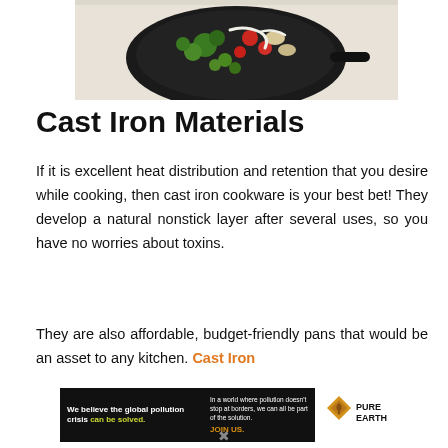[Figure (photo): A cast iron skillet with vegetables including broccoli, tomatoes, and mushrooms viewed from above on a light wooden surface.]
Cast Iron Materials
If it is excellent heat distribution and retention that you desire while cooking, then cast iron cookware is your best bet! They develop a natural nonstick layer after several uses, so you have no worries about toxins.
They are also affordable, budget-friendly pans that would be an asset to any kitchen. Cast Iron
[Figure (infographic): Pure Earth advertisement banner. Left black section reads: 'We believe the global pollution crisis can be solved.' Middle black section reads: 'In a world where pollution doesn't stop at borders, we can all be part of the solution. JOIN US.' Right white section shows the Pure Earth logo (diamond shape with leaf/spade icon) and text 'PURE EARTH'.]